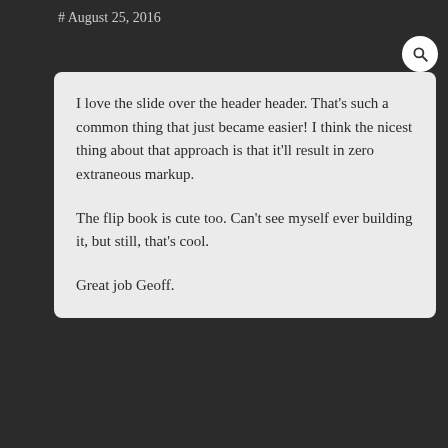# August 25, 2016
I love the slide over the header header. That's such a common thing that just became easier! I think the nicest thing about that approach is that it'll result in zero extraneous markup.

The flip book is cute too. Can't see myself ever building it, but still, that's cool.

Great job Geoff.
POST AUTHOR
Geoff Graham
# August 25, 2016
Thanks Sean! It was a lot of fun looking